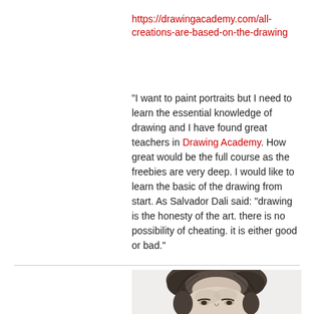https://drawingacademy.com/all-creations-are-based-on-the-drawing
“I want to paint portraits but I need to learn the essential knowledge of drawing and I have found great teachers in Drawing Academy. How great would be the full course as the freebies are very deep. I would like to learn the basic of the drawing from start. As Salvador Dali said: “drawing is the honesty of the art. there is no possibility of cheating. it is either good or bad.”
[Figure (illustration): Pencil sketch portrait of a person's face and hair, cropped at the bottom of the page]